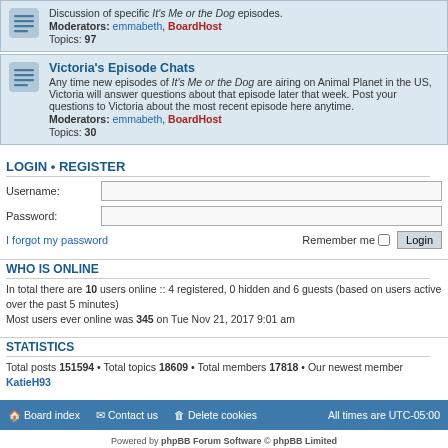Discussion of specific It's Me or the Dog episodes. Moderators: emmabeth, BoardHost. Topics: 97
Victoria's Episode Chats. Any time new episodes of It's Me or the Dog are airing on Animal Planet in the US, Victoria will answer questions about that episode later that week. Post your questions to Victoria about the most recent episode here anytime. Moderators: emmabeth, BoardHost. Topics: 30
LOGIN • REGISTER
Username:
Password:
I forgot my password
Remember me  Login
WHO IS ONLINE
In total there are 10 users online :: 4 registered, 0 hidden and 6 guests (based on users active over the past 5 minutes)
Most users ever online was 345 on Tue Nov 21, 2017 9:01 am
STATISTICS
Total posts 151594 • Total topics 18609 • Total members 17818 • Our newest member KatieH93
Board index   Contact us   Delete cookies   All times are UTC-05:00